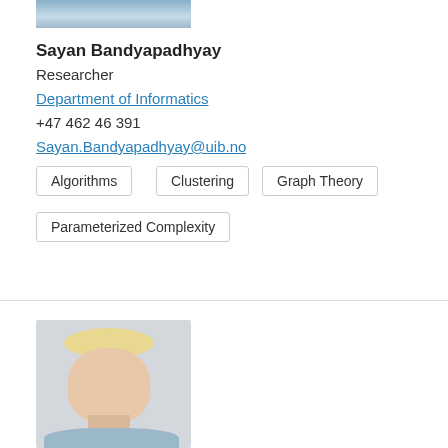[Figure (photo): Partial photo of Sayan Bandyapadhyay, cropped at top of page]
Sayan Bandyapadhyay
Researcher
Department of Informatics
+47 462 46 391
Sayan.Bandyapadhyay@uib.no
Algorithms
Clustering
Graph Theory
Parameterized Complexity
[Figure (photo): Portrait photo of a blonde woman, second researcher profile]